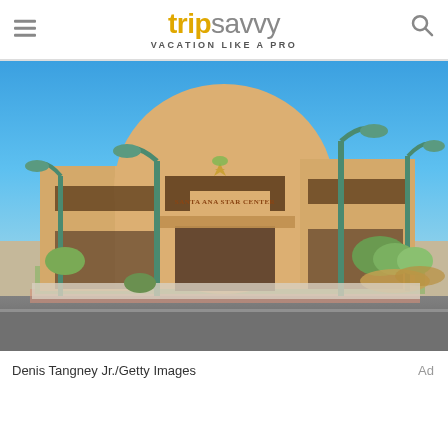tripsavvy VACATION LIKE A PRO
[Figure (photo): Exterior photo of Santa Ana Star Center arena building on a clear blue sky day, with green lamp posts in the foreground and landscaping around the building.]
Denis Tangney Jr./Getty Images